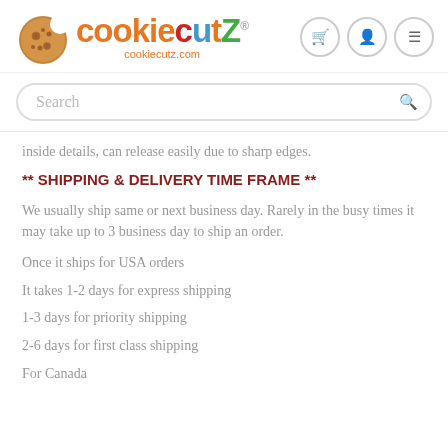[Figure (logo): CookieCutZ logo with cookie icon and colored text, cookiecutz.com]
Search
inside details, can release easily due to sharp edges.
** SHIPPING & DELIVERY TIME FRAME **
We usually ship same or next business day. Rarely in the busy times it may take up to 3 business day to ship an order.
Once it ships for USA orders
It takes 1-2 days for express shipping
1-3 days for priority shipping
2-6 days for first class shipping
For Canada